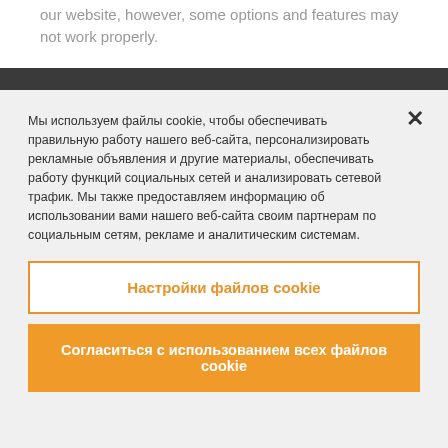our website, however, some options and features may not work properly.
Мы используем файлы cookie, чтобы обеспечивать правильную работу нашего веб-сайта, персонализировать рекламные объявления и другие материалы, обеспечивать работу функций социальных сетей и анализировать сетевой трафик. Мы также предоставляем информацию об использовании вами нашего веб-сайта своим партнерам по социальным сетям, рекламе и аналитическим системам.
Настройки файлов cookie
Согласиться с использованием всех файлов cookie